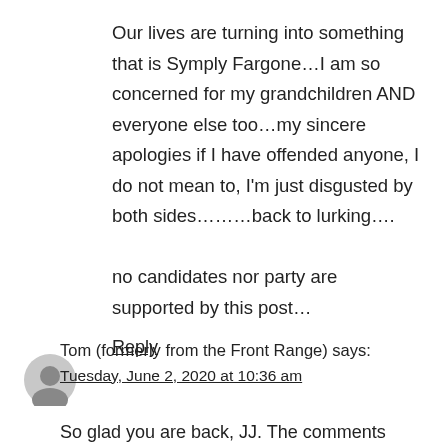Our lives are turning into something that is Symply Fargone…I am so concerned for my grandchildren AND everyone else too…my sincere apologies if I have offended anyone, I do not mean to, I'm just disgusted by both sides………back to lurking….

no candidates nor party are supported by this post…
Reply
Tom (formerly from the Front Range) says:
Tuesday, June 2, 2020 at 10:36 am
So glad you are back, JJ. The comments